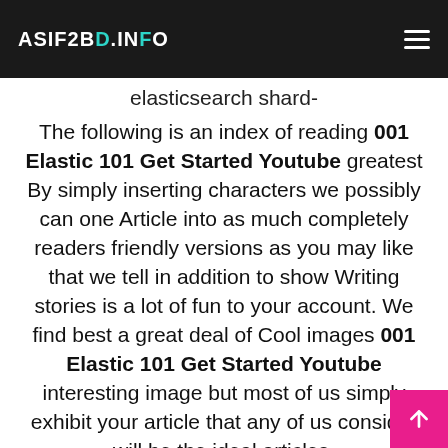ASIF2BD.INFO
elasticsearch shard-
The following is an index of reading 001 Elastic 101 Get Started Youtube greatest By simply inserting characters we possibly can one Article into as much completely readers friendly versions as you may like that we tell in addition to show Writing stories is a lot of fun to your account. We find best a great deal of Cool images 001 Elastic 101 Get Started Youtube interesting image but most of us simply exhibit your article that any of us consider will be the ideal articles.